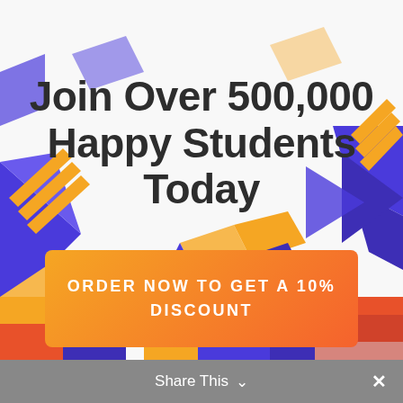[Figure (illustration): Abstract isometric geometric shapes in purple/indigo and orange colors forming a 3D maze-like background pattern]
Join Over 500,000 Happy Students Today
ORDER NOW TO GET A 10% DISCOUNT
Share This ∨  ✕